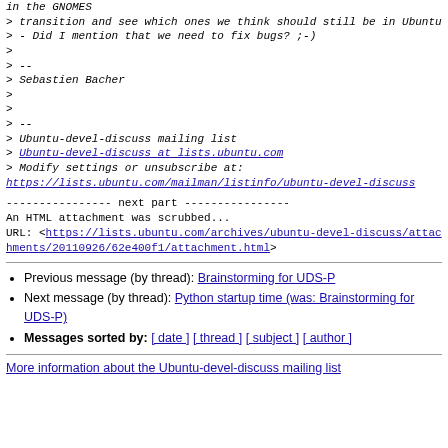in the GNOMES
> transition and see which ones we think should still be in Ubuntu
> - Did I mention that we need to fix bugs? ;-)
>
> --
> Sebastien Bacher
>
>
> --
> Ubuntu-devel-discuss mailing list
> Ubuntu-devel-discuss at lists.ubuntu.com
> Modify settings or unsubscribe at:
https://lists.ubuntu.com/mailman/listinfo/ubuntu-devel-discuss
---------------- next part ----------------
An HTML attachment was scrubbed...
URL: <https://lists.ubuntu.com/archives/ubuntu-devel-discuss/attachments/20110926/62e400f1/attachment.html>
Previous message (by thread): Brainstorming for UDS-P
Next message (by thread): Python startup time (was: Brainstorming for UDS-P)
Messages sorted by: [ date ] [ thread ] [ subject ] [ author ]
More information about the Ubuntu-devel-discuss mailing list